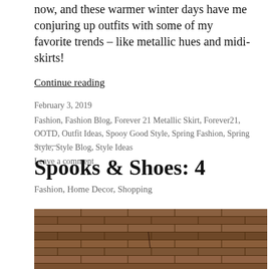now, and these warmer winter days have me conjuring up outfits with some of my favorite trends – like metallic hues and midi-skirts!
Continue reading
February 3, 2019
Fashion, Fashion Blog, Forever 21 Metallic Skirt, Forever21, OOTD, Outfit Ideas, Spooy Good Style, Spring Fashion, Spring Style, Style Blog, Style Ideas
Leave a comment
Spooks & Shoes: 4
Fashion, Home Decor, Shopping
[Figure (photo): A brick wall photograph showing reddish-brown textured bricks at the bottom of the page]